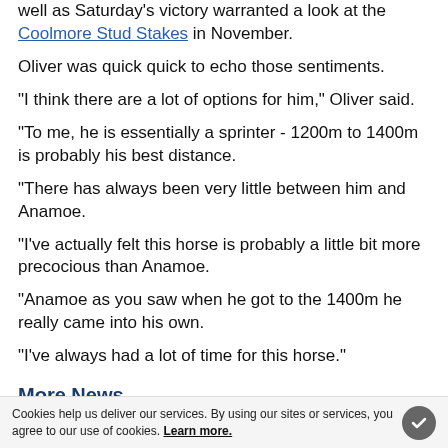well as Saturday's victory warranted a look at the Coolmore Stud Stakes in November.
Oliver was quick quick to echo those sentiments.
"I think there are a lot of options for him," Oliver said.
"To me, he is essentially a sprinter - 1200m to 1400m is probably his best distance.
"There has always been very little between him and Anamoe.
"I've actually felt this horse is probably a little bit more precocious than Anamoe.
"Anamoe as you saw when he got to the 1400m he really came into his own.
"I've always had a lot of time for this horse."
More News
Cookies help us deliver our services. By using our sites or services, you agree to our use of cookies. Learn more.